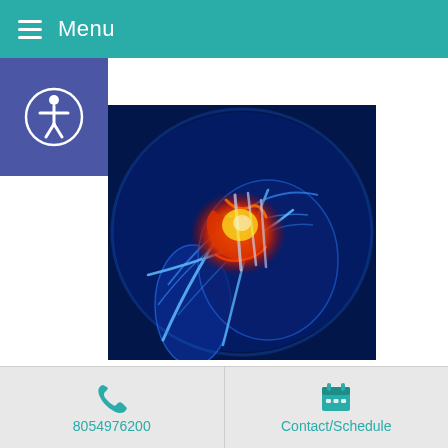Menu
[Figure (illustration): Medical illustration of a shoulder joint with glowing orange/red inflammation at the joint, shown as an X-ray style blue-lit anatomical image against dark blue background. Represents adhesive capsulitis (frozen shoulder).]
Complaints: Adhesive capsulitis in the right shoulder. The pain began 2½ months ago. She cannot sleep on her right side. Therapy
8054976200   Contact/Schedule